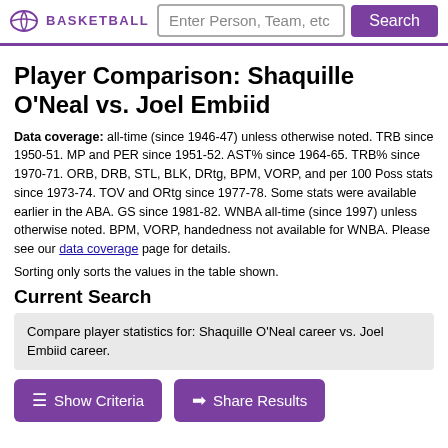BASKETBALL
Enter Person, Team, etc
Player Comparison: Shaquille O'Neal vs. Joel Embiid
Data coverage: all-time (since 1946-47) unless otherwise noted. TRB since 1950-51. MP and PER since 1951-52. AST% since 1964-65. TRB% since 1970-71. ORB, DRB, STL, BLK, DRtg, BPM, VORP, and per 100 Poss stats since 1973-74. TOV and ORtg since 1977-78. Some stats were available earlier in the ABA. GS since 1981-82. WNBA all-time (since 1997) unless otherwise noted. BPM, VORP, handedness not available for WNBA. Please see our data coverage page for details.
Sorting only sorts the values in the table shown.
Current Search
Compare player statistics for: Shaquille O'Neal career vs. Joel Embiid career.
Show Criteria
Share Results